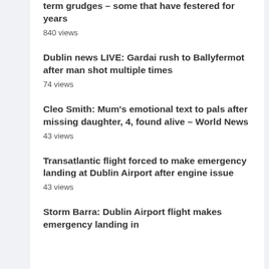term grudges – some that have festered for years
840 views
Dublin news LIVE: Gardai rush to Ballyfermot after man shot multiple times
74 views
Cleo Smith: Mum's emotional text to pals after missing daughter, 4, found alive – World News
43 views
Transatlantic flight forced to make emergency landing at Dublin Airport after engine issue
43 views
Storm Barra: Dublin Airport flight makes emergency landing in